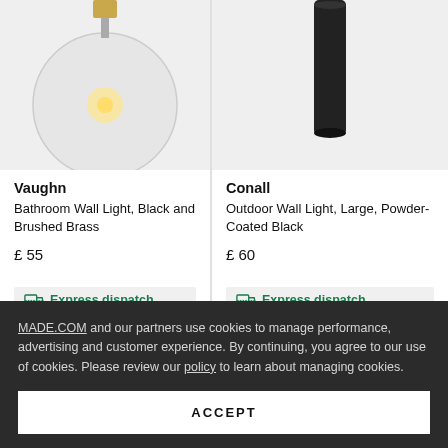[Figure (photo): Vaughn Bathroom Wall Light with glass globe bulb, black and brushed brass finish, cropped from top]
[Figure (photo): Conall Outdoor Wall Light, large, powder-coated black cylindrical fixture, cropped from top]
Vaughn
Bathroom Wall Light, Black and Brushed Brass
£ 55
Conall
Outdoor Wall Light, Large, Powder-Coated Black
£ 60
Express dispatch
Express dispatch
MADE.COM and our partners use cookies to manage performance, advertising and customer experience. By continuing, you agree to our use of cookies. Please review our policy to learn about managing cookies.
ACCEPT